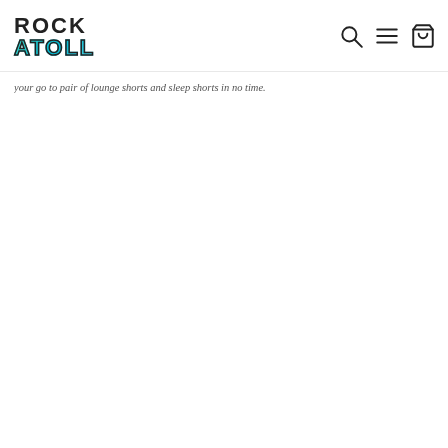ROCK ATOLL — navigation header with logo, search, menu, and cart icons
your go to pair of lounge shorts and sleep shorts in no time.